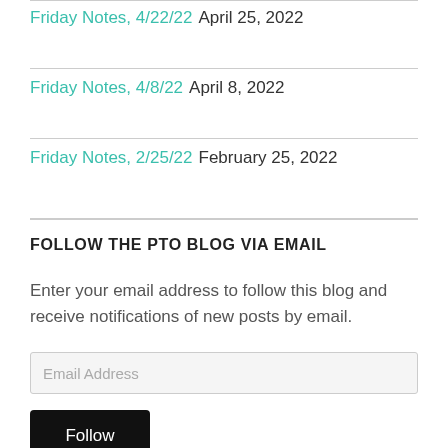Friday Notes, 4/22/22 April 25, 2022
Friday Notes, 4/8/22 April 8, 2022
Friday Notes, 2/25/22 February 25, 2022
FOLLOW THE PTO BLOG VIA EMAIL
Enter your email address to follow this blog and receive notifications of new posts by email.